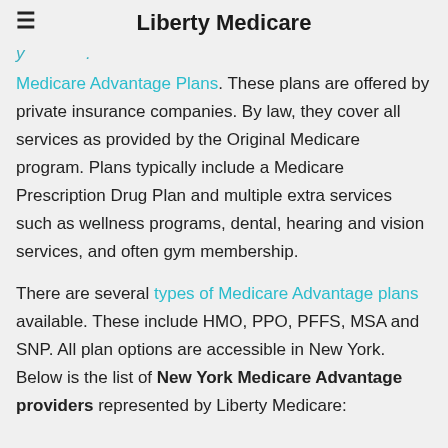Liberty Medicare
Medicare Advantage Plans. These plans are offered by private insurance companies. By law, they cover all services as provided by the Original Medicare program. Plans typically include a Medicare Prescription Drug Plan and multiple extra services such as wellness programs, dental, hearing and vision services, and often gym membership.
There are several types of Medicare Advantage plans available. These include HMO, PPO, PFFS, MSA and SNP. All plan options are accessible in New York. Below is the list of New York Medicare Advantage providers represented by Liberty Medicare: